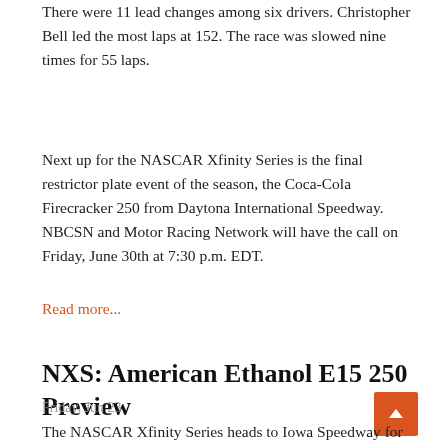There were 11 lead changes among six drivers. Christopher Bell led the most laps at 152. The race was slowed nine times for 55 laps.
Next up for the NASCAR Xfinity Series is the final restrictor plate event of the season, the Coca-Cola Firecracker 250 from Daytona International Speedway. NBCSN and Motor Racing Network will have the call on Friday, June 30th at 7:30 p.m. EDT.
Read more...
NXS: American Ethanol E15 250 Preview
Friday, Jun 23
The NASCAR Xfinity Series heads to Iowa Speedway for the